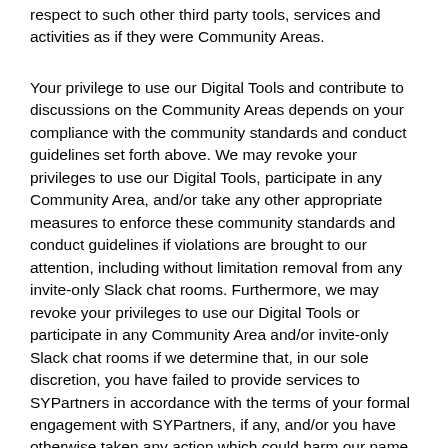respect to such other third party tools, services and activities as if they were Community Areas.
Your privilege to use our Digital Tools and contribute to discussions on the Community Areas depends on your compliance with the community standards and conduct guidelines set forth above. We may revoke your privileges to use our Digital Tools, participate in any Community Area, and/or take any other appropriate measures to enforce these community standards and conduct guidelines if violations are brought to our attention, including without limitation removal from any invite-only Slack chat rooms. Furthermore, we may revoke your privileges to use our Digital Tools or participate in any Community Area and/or invite-only Slack chat rooms if we determine that, in our sole discretion, you have failed to provide services to SYPartners in accordance with the terms of your formal engagement with SYPartners, if any, and/or you have otherwise taken any action which could harm our name or reputation.